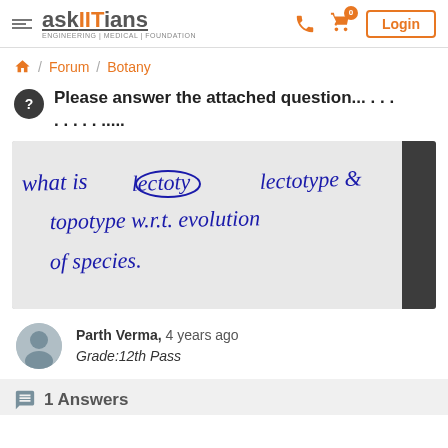askIITians ENGINEERING | MEDICAL | FOUNDATION — Login
/ Forum / Botany
Please answer the attached question... . . . . . . . . . . .....
[Figure (photo): Handwritten question on paper: 'what is [lecotype] lectotype & topotype w.r.t. evolution of species']
Parth Verma,  4 years ago
Grade:12th Pass
1 Answers